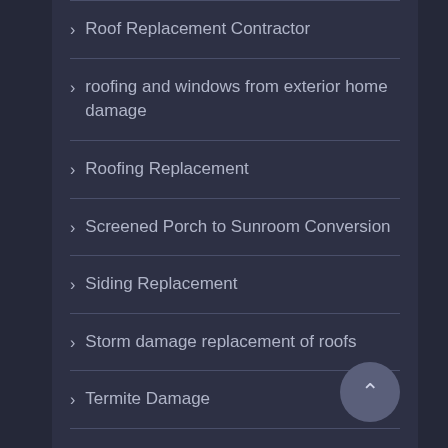Roof Replacement Contractor
roofing and windows from exterior home damage
Roofing Replacement
Screened Porch to Sunroom Conversion
Siding Replacement
Storm damage replacement of roofs
Termite Damage